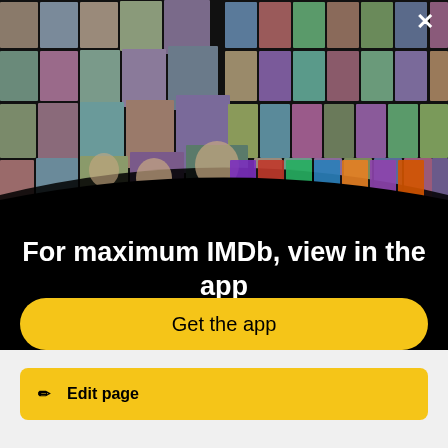[Figure (photo): IMDb app promotional banner showing a collage of actor headshots and movie/TV show posters arranged in a perspective grid on a black background]
For maximum IMDb, view in the app
Get the app
Edit page